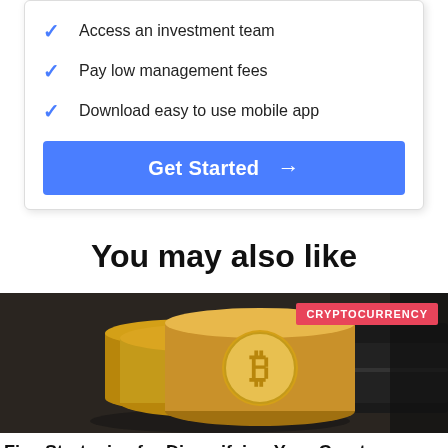Access an investment team
Pay low management fees
Download easy to use mobile app
Get Started →
You may also like
[Figure (photo): Stack of gold Bitcoin coins on top of a black leather wallet on a dark textured surface, with a CRYPTOCURRENCY label badge in the top right corner.]
Five Strategies for Diversifying Your Crypto Portfolio